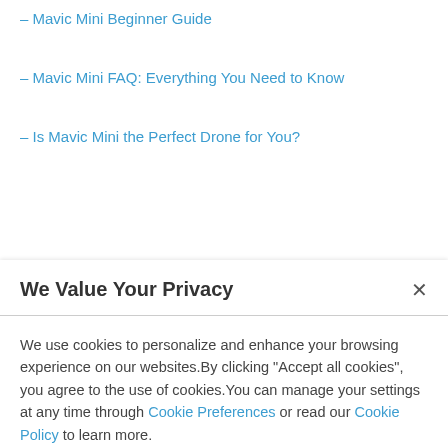– Mavic Mini Beginner Guide
– Mavic Mini FAQ: Everything You Need to Know
– Is Mavic Mini the Perfect Drone for You?
We Value Your Privacy
We use cookies to personalize and enhance your browsing experience on our websites.By clicking "Accept all cookies", you agree to the use of cookies.You can manage your settings at any time through Cookie Preferences or read our Cookie Policy to learn more.
Accept All
Cookie Preferences